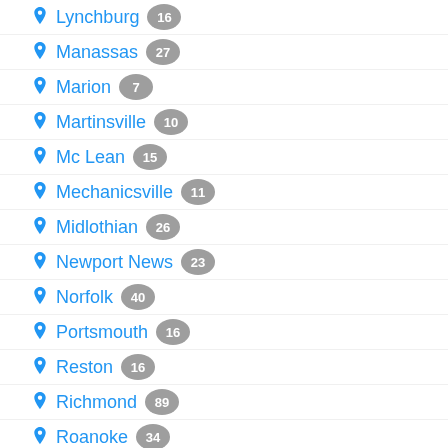Lynchburg 16
Manassas 27
Marion 7
Martinsville 10
Mc Lean 15
Mechanicsville 11
Midlothian 26
Newport News 23
Norfolk 40
Portsmouth 16
Reston 16
Richmond 89
Roanoke 34
Salem 21
Springfield 26
Stafford 11